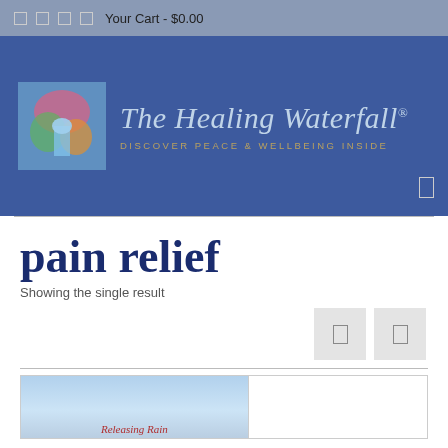Your Cart - $0.00
[Figure (logo): The Healing Waterfall logo with colorful artwork image on the left and cursive text 'The Healing Waterfall®' with tagline 'DISCOVER PEACE & WELLBEING INSIDE' on a blue background]
pain relief
Showing the single result
[Figure (photo): Product image showing 'Releasing Rain' with a blue sky background, partially visible at the bottom of the page]